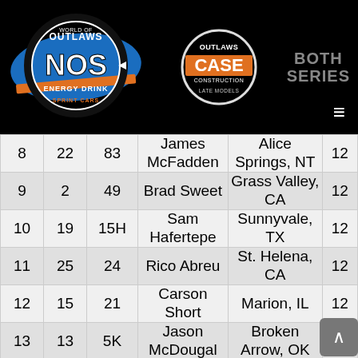[Figure (logo): World of Outlaws NOS Energy Drink Sprint Cars logo on black header bar, alongside Outlaws CASE Construction Late Models logo and 'BOTH SERIES' text with hamburger menu icon]
|  |  |  |  |  |  |
| --- | --- | --- | --- | --- | --- |
| 8 | 22 | 83 | James McFadden | Alice Springs, NT | 12 |
| 9 | 2 | 49 | Brad Sweet | Grass Valley, CA | 12 |
| 10 | 19 | 15H | Sam Hafertepe | Sunnyvale, TX | 12 |
| 11 | 25 | 24 | Rico Abreu | St. Helena, CA | 12 |
| 12 | 15 | 21 | Carson Short | Marion, IL | 12 |
| 13 | 13 | 5K | Jason McDougal | Broken Arrow, OK | 12 |